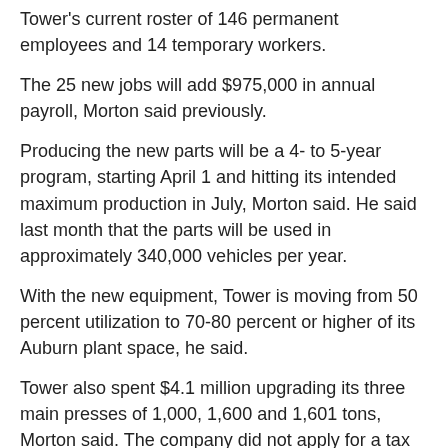Tower's current roster of 146 permanent employees and 14 temporary workers.
The 25 new jobs will add $975,000 in annual payroll, Morton said previously.
Producing the new parts will be a 4- to 5-year program, starting April 1 and hitting its intended maximum production in July, Morton said. He said last month that the parts will be used in approximately 340,000 vehicles per year.
With the new equipment, Tower is moving from 50 percent utilization to 70-80 percent or higher of its Auburn plant space, he said.
Tower also spent $4.1 million upgrading its three main presses of 1,000, 1,600 and 1,601 tons, Morton said. The company did not apply for a tax incentive on those improvements, because they did not create additional jobs, he said last month.